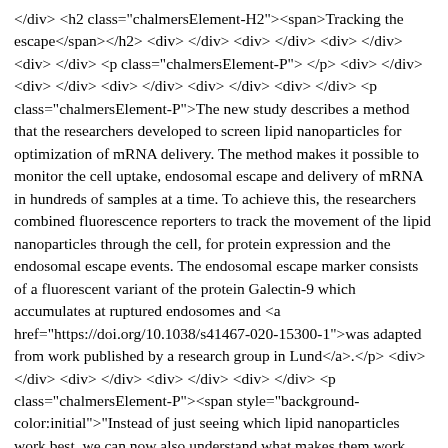</div> <h2 class="chalmersElement-H2"><span>Tracking the escape</span></h2> <div> </div> <div> </div> <div> </div> <div> </div> <p class="chalmersElement-P"> </p> <div> </div> <div> </div> <div> </div> <div> </div> <div> </div> <p class="chalmersElement-P">The new study describes a method that the researchers developed to screen lipid nanoparticles for optimization of mRNA delivery. The method makes it possible to monitor the cell uptake, endosomal escape and delivery of mRNA in hundreds of samples at a time. To achieve this, the researchers combined fluorescence reporters to track the movement of the lipid nanoparticles through the cell, for protein expression and the endosomal escape events. The endosomal escape marker consists of a fluorescent variant of the protein Galectin-9 which accumulates at ruptured endosomes and <a href="https://doi.org/10.1038/s41467-020-15300-1">was adapted from work published by a research group in Lund</a>.</p> <div> </div> <div> </div> <div> </div> <div> </div> <p class="chalmersElement-P"><span style="background-color:initial">"Instead of just seeing which lipid nanoparticles work best, we can now also understand what makes them work optimally, and use that knowledge to develop and test new improved nanoparticle formulations," says Michael Munson.</span></p> <div> </div> <div> </div> <div> </div> <div> </div> <h2 class="chalmersElement-H2"><span>Endosomal escape must be optimally timed</span><span><br /></span></h2> <div> </div> <div> </div> <div> </div> <p class="chalmersElement-P"><span style="background-color:initial">This is Zelling...</span>